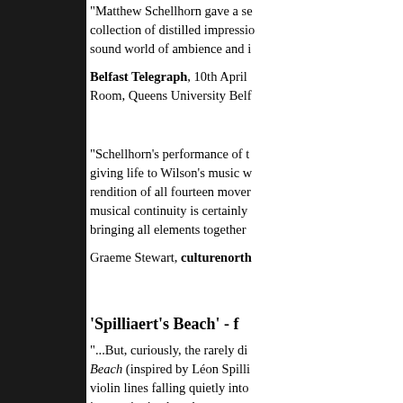"Matthew Schellhorn gave a se collection of distilled impressio sound world of ambience and i
Belfast Telegraph, 10th April Room, Queens University Belf
"Schellhorn's performance of t giving life to Wilson's music w rendition of all fourteen mover musical continuity is certainly bringing all elements together
Graeme Stewart, culturenorth
'Spilliaert's Beach' - f
"...But, curiously, the rarely di Beach (inspired by Léon Spilli violin lines falling quietly into impressionist than the sonatas
The Irish Times, 27th March National Concert Hall, Dubli